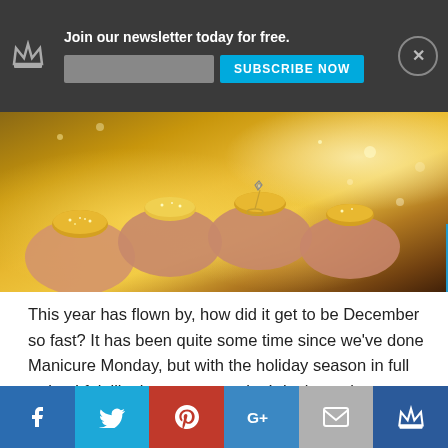[Figure (other): Newsletter subscription banner with dark background, crown icon, headline 'Join our newsletter today for free.', email input field, 'SUBSCRIBE NOW' button in cyan, and close button]
[Figure (photo): Close-up photo of a hand with gold glitter manicured nails holding a small ring against a golden bokeh background]
This year has flown by, how did it get to be December so fast? It has been quite some time since we’ve done Manicure Monday, but with the holiday season in full swing I felt like it was a must do. I don’t need an excuse for bling, but its almost a given for the holiday nail art and these [...]
[Figure (other): Social share icons (f, twitter bird, G+, Pinterest pin) with a horizontal line and 'CONTINUE READING' button]
TRAVEL
[Figure (other): Bottom social sharing bar with five colored sections: Facebook (blue), Twitter (light blue), Pinterest (red), Google+ (blue), Email (grey), Crown (dark blue)]